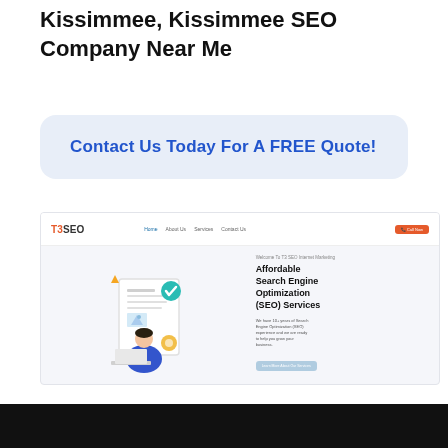Kissimmee, Kissimmee SEO Company Near Me
Contact Us Today For A FREE Quote!
[Figure (screenshot): Screenshot of T3SEO website homepage showing navigation bar with T3SEO logo, Home, About Us, Services, Contact Us links, an orange call button, a hero illustration of a person working at a computer with SEO elements, and hero text reading 'Affordable Search Engine Optimization (SEO) Services' with supporting body text and a Learn More button.]